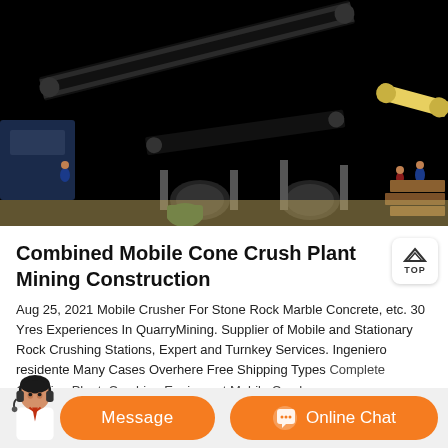[Figure (photo): Mobile cone crushing plant at a mining/construction site. Large industrial crushing machine with conveyor belts on a dirt ground, hills with autumn foliage in the background.]
Combined Mobile Cone Crush Plant Mining Construction
Aug 25, 2021 Mobile Crusher For Stone Rock Marble Concrete, etc. 30 Yres Experiences In QuarryMining. Supplier of Mobile and Stationary Rock Crushing Stations, Expert and Turnkey Services. Ingeniero residente Many Cases Overhere Free Shipping Types Complete Crushing Plant, Crushing Equipment Mobile Crushers